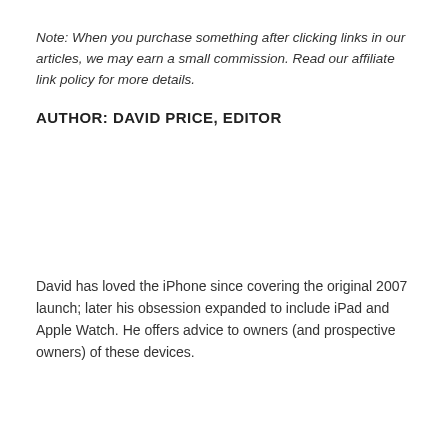Note: When you purchase something after clicking links in our articles, we may earn a small commission. Read our affiliate link policy for more details.
AUTHOR: DAVID PRICE, EDITOR
David has loved the iPhone since covering the original 2007 launch; later his obsession expanded to include iPad and Apple Watch. He offers advice to owners (and prospective owners) of these devices.